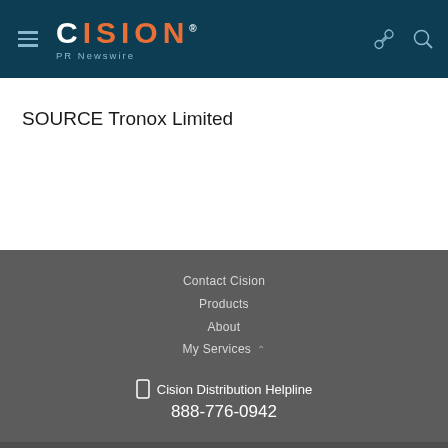Cision PR Newswire
SOURCE Tronox Limited
Contact Cision
Products
About
My Services
Cision Distribution Helpline 888-776-0942
Terms of Use | Privacy Policy | Information Security Policy | Site Map | RSS | Cookie Settings
Copyright © 2022 Cision US Inc.